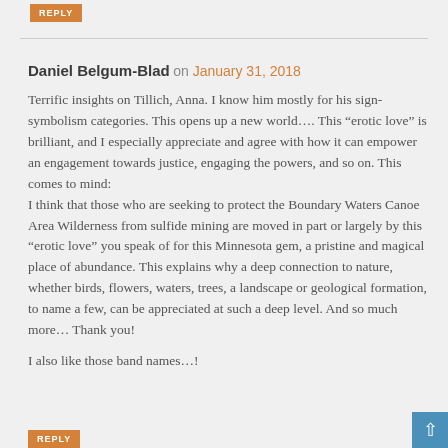REPLY
Daniel Belgum-Blad on January 31, 2018
Terrific insights on Tillich, Anna. I know him mostly for his sign-symbolism categories. This opens up a new world…. This “erotic love” is brilliant, and I especially appreciate and agree with how it can empower an engagement towards justice, engaging the powers, and so on. This comes to mind:
I think that those who are seeking to protect the Boundary Waters Canoe Area Wilderness from sulfide mining are moved in part or largely by this “erotic love” you speak of for this Minnesota gem, a pristine and magical place of abundance. This explains why a deep connection to nature, whether birds, flowers, waters, trees, a landscape or geological formation, to name a few, can be appreciated at such a deep level. And so much more… Thank you!
I also like those band names…!
REPLY